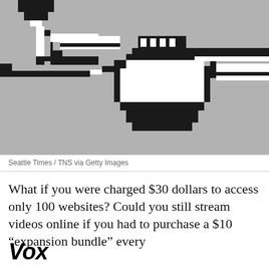[Figure (illustration): Pixel art illustration of a hand holding a plug/connector on a gray background, styled in retro 8-bit black and white pixel art.]
Seattle Times / TNS via Getty Images
What if you were charged $30 dollars to access only 100 websites? Could you still stream videos online if you had to purchase a $10 “expansion bundle” every
[Figure (logo): Vox media logo in bold italic black text]